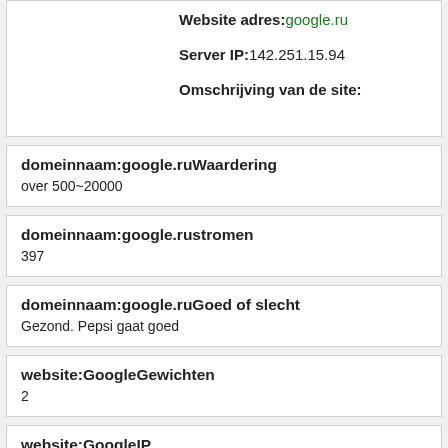Website adres: google.ru
Server IP: 142.251.15.94
Omschrijving van de site:
domeinnaam:google.ruWaardering
over 500~20000
domeinnaam:google.rustromen
397
domeinnaam:google.ruGoed of slecht
Gezond. Pepsi gaat goed
website:GoogleGewichten
2
website:GoogleIP